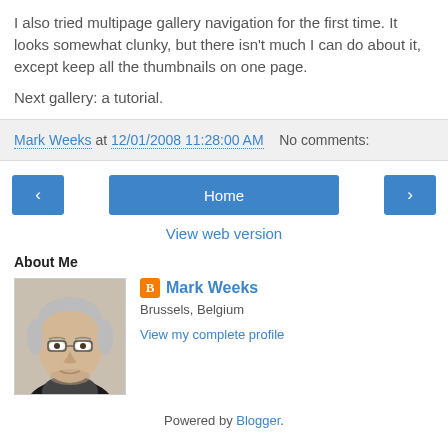I also tried multipage gallery navigation for the first time. It looks somewhat clunky, but there isn't much I can do about it, except keep all the thumbnails on one page.
Next gallery: a tutorial.
Mark Weeks at 12/01/2008 11:28:00 AM   No comments:
‹   Home   ›
View web version
About Me
[Figure (photo): Profile photo of Mark Weeks, an older man with glasses and gray hair, wearing a dark sweater]
Mark Weeks
Brussels, Belgium
View my complete profile
Powered by Blogger.